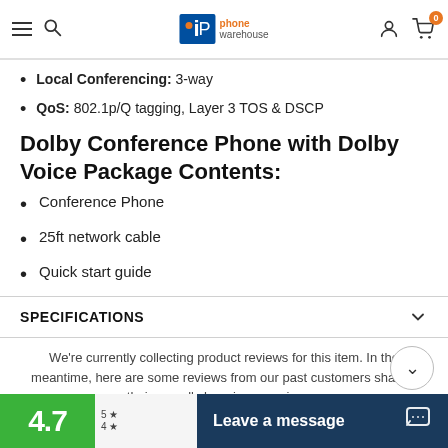iP Phone Warehouse — navigation header
Local Conferencing: 3-way
QoS: 802.1p/Q tagging, Layer 3 TOS & DSCP
Dolby Conference Phone with Dolby Voice Package Contents:
Conference Phone
25ft network cable
Quick start guide
SPECIFICATIONS
We're currently collecting product reviews for this item. In the meantime, here are some reviews from our past customers sharing their overall shopping experience.
Leave a message